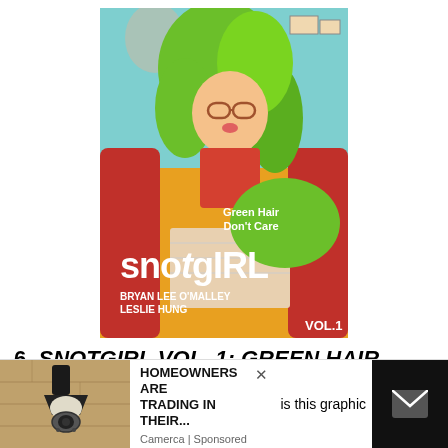[Figure (illustration): Book cover of Snotgirl Vol. 1: Green Hair Don't Care. Features a green-haired anime-style girl with glasses sitting on a red couch with a laptop. Bold white text reads 'SNOTgIRL', 'Bryan Lee O'Malley', 'Leslie Hung', 'Green Hair Don't Care', 'Vol. 1' on a green bubble.]
6. SNOTGIRL VOL. 1: GREEN HAIR DON'T CARE BY BRYAN LEE O'MALLEY AND LESLIE HUNG
[Figure (photo): Advertisement banner showing a home exterior light fixture with a security camera, with text 'HOMEOWNERS ARE TRADING IN THEIR...' from Camerca sponsored, partially overlapped by a dark panel with an email icon and partial article text 'is this graphic']